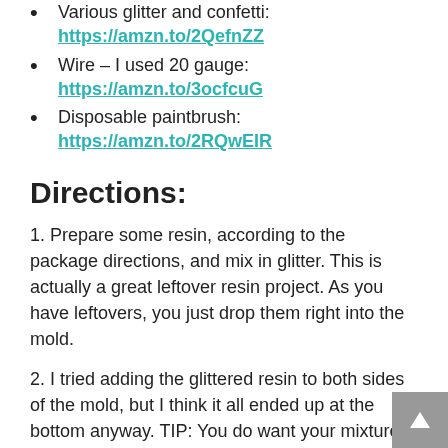Various glitter and confetti: https://amzn.to/2QefnZZ
Wire – I used 20 gauge: https://amzn.to/3ocfcuG
Disposable paintbrush: https://amzn.to/2RQwEIR
Directions:
1.  Prepare some resin, according to the package directions, and mix in glitter.  This is actually a great leftover resin project.  As you have leftovers, you just drop them right into the mold.
2.  I tried adding the glittered resin to both sides of the mold, but I think it all ended up at the bottom anyway.  TIP:  You do want your mixture to be